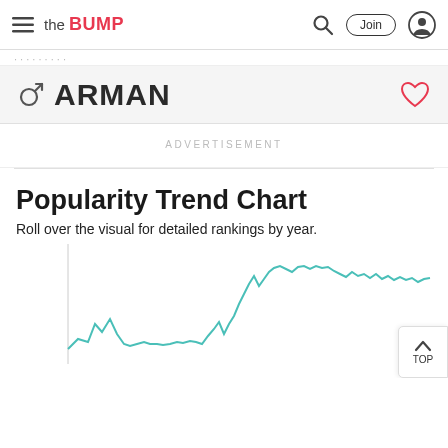the BUMP — Search | Join | User
♂ ARMAN
ADVERTISEMENT
Popularity Trend Chart
Roll over the visual for detailed rankings by year.
[Figure (line-chart): A teal/cyan line chart showing the popularity trend of the baby name Arman over years. The line starts low, shows spikes in the early portion, dips in the middle, then rises sharply toward the right side of the chart, peaking near the end with some fluctuation at the top.]